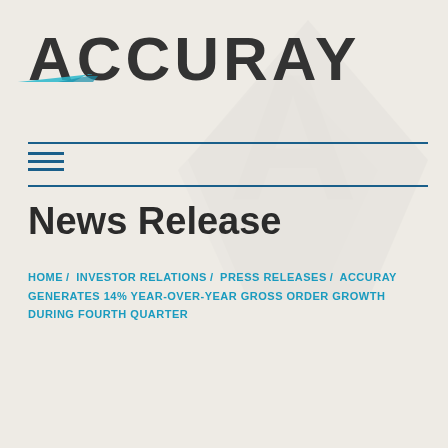[Figure (logo): Accuray company logo with teal accent slash mark]
News Release
HOME / INVESTOR RELATIONS / PRESS RELEASES / ACCURAY GENERATES 14% YEAR-OVER-YEAR GROSS ORDER GROWTH DURING FOURTH QUARTER